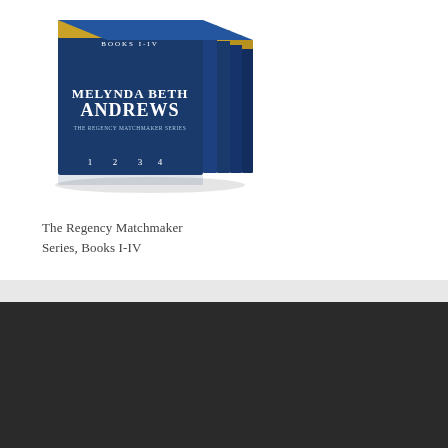[Figure (photo): A boxed set of 4 books titled 'The Regency Matchmaker Series Books I-IV' by Melynda Beth Andrews, displayed as a 3D stack with navy blue spines and gold/floral cover art.]
The Regency Matchmaker Series, Books I-IV
Copyright 2021 by Melynda Beth Andrews, All Rights Reserved
Privacy, Cookies, and Terms – Oh My!
Menu
Privacy, Cookies, and Terms – Oh My!